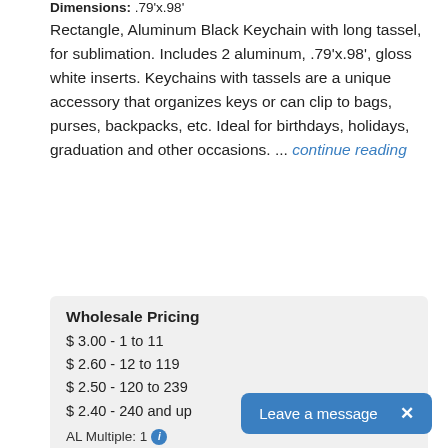Dimensions: .79'x.98'
Rectangle, Aluminum Black Keychain with long tassel, for sublimation. Includes 2 aluminum, .79'x.98', gloss white inserts. Keychains with tassels are a unique accessory that organizes keys or can clip to bags, purses, backpacks, etc. Ideal for birthdays, holidays, graduation and other occasions. ... continue reading
| Wholesale Pricing |
| --- |
| $ 3.00 - 1 to 11 |
| $ 2.60 - 12 to 119 |
| $ 2.50 - 120 to 239 |
| $ 2.40 - 240 and up |
AL Multiple: 1
[Figure (photo): Gold/silver metal ring keychain ring component shown from above]
Leave a message